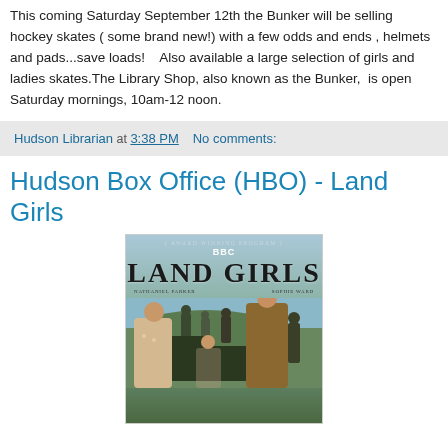This coming Saturday September 12th the Bunker will be selling hockey skates ( some brand new!) with a few odds and ends , helmets and pads...save loads!    Also available a large selection of girls and ladies skates.The Library Shop, also known as the Bunker,  is open Saturday mornings, 10am-12 noon.
Hudson Librarian at 3:38 PM    No comments:
Hudson Box Office (HBO) - Land Girls
[Figure (photo): BBC Land Girls DVD/movie poster showing award winning program text at top, BBC logo, LAND GIRLS title in large bold serif font, actor names Nathaniel Parker and Sophie Ward, and a scene with multiple people in period dress outdoors in a rural landscape.]